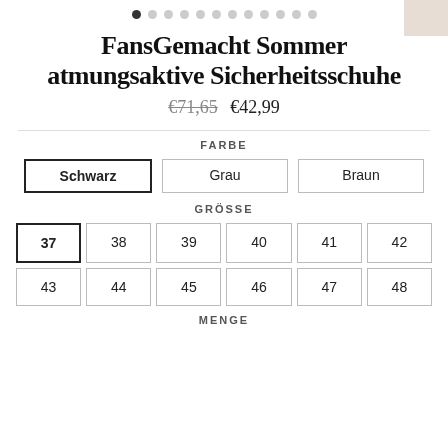[Figure (other): Carousel dot navigation with 12 dots, first dot filled/active]
FansGemacht Sommer atmungsaktive Sicherheitsschuhe
€71,65  €42,99
FARBE
Schwarz  Grau  Braun
GRÖSSE
37  38  39  40  41  42  43  44  45  46  47  48
MENGE